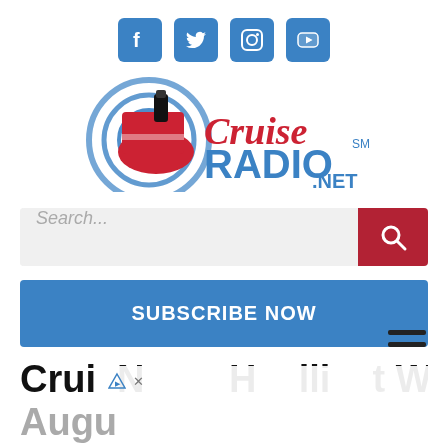[Figure (logo): Social media icons: Facebook, Twitter, Instagram, YouTube — blue rounded square buttons]
[Figure (logo): Cruise Radio .NET logo with cruise ship graphic, red cursive 'Cruise' and bold blue 'RADIO' text]
[Figure (screenshot): Search bar with placeholder text 'Search...' and red search button]
[Figure (screenshot): Blue 'SUBSCRIBE NOW' button]
[Figure (screenshot): Hamburger menu icon (three horizontal lines)]
Crui  N       H    lli    t W   k Of Aug